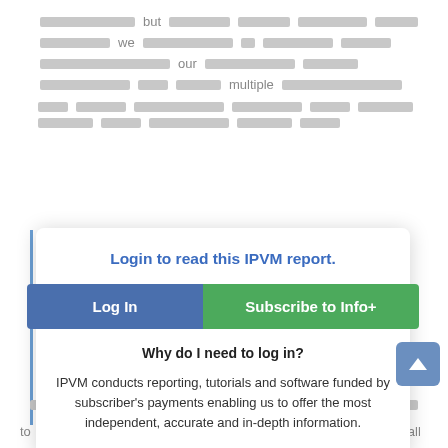[Figure (screenshot): Background redacted/blurred text lines representing obscured article content]
Login to read this IPVM report.
Log In
Subscribe to Info+
Why do I need to log in?
IPVM conducts reporting, tutorials and software funded by subscriber's payments enabling us to offer the most independent, accurate and in-depth information.